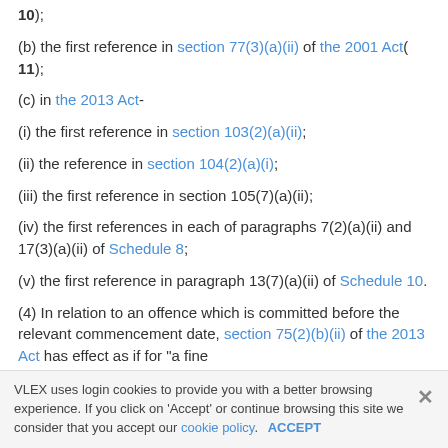10);
(b) the first reference in section 77(3)(a)(ii) of the 2001 Act( 11);
(c) in the 2013 Act-
(i) the first reference in section 103(2)(a)(ii);
(ii) the reference in section 104(2)(a)(i);
(iii) the first reference in section 105(7)(a)(ii);
(iv) the first references in each of paragraphs 7(2)(a)(ii) and 17(3)(a)(ii) of Schedule 8;
(v) the first reference in paragraph 13(7)(a)(ii) of Schedule 10.
(4) In relation to an offence which is committed before the relevant commencement date, section 75(2)(b)(ii) of the 2013 Act has effect as if for "a fine
VLEX uses login cookies to provide you with a better browsing experience. If you click on 'Accept' or continue browsing this site we consider that you accept our cookie policy. ACCEPT